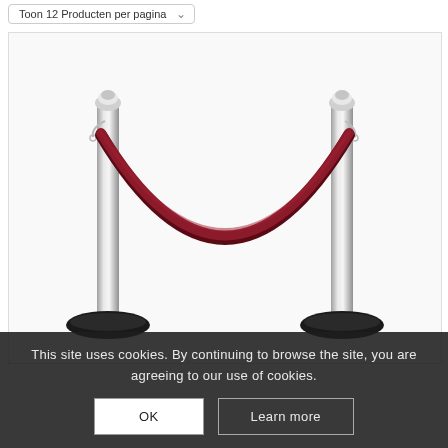Toon 12 Producten per pagina
[Figure (photo): Two chrome/silver stanchion poles with dark round bases, connected by a hanging dark red velvet rope draped in a catenary curve. White background.]
This site uses cookies. By continuing to browse the site, you are agreeing to our use of cookies.
OK
Learn more